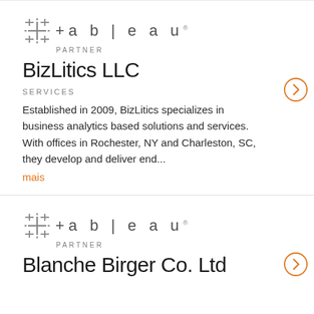[Figure (logo): Tableau Partner logo with crosshair grid icon and wordmark]
BizLitics LLC
SERVICES
Established in 2009, BizLitics specializes in business analytics based solutions and services. With offices in Rochester, NY and Charleston, SC, they develop and deliver end...
mais
[Figure (logo): Tableau Partner logo with crosshair grid icon and wordmark]
Blanche Birger Co. Ltd